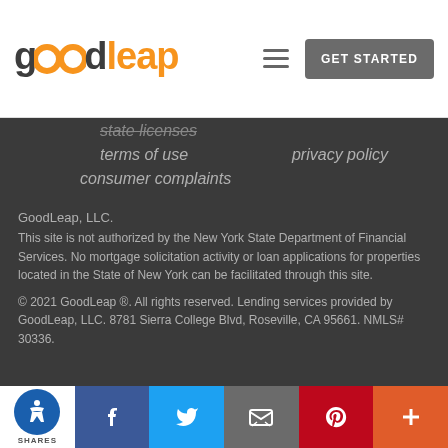[Figure (logo): GoodLeap logo with 'good' in dark gray and 'leap' in orange, with two orange 'o' circles]
state licenses
terms of use
privacy policy
consumer complaints
GoodLeap, LLC.
This site is not authorized by the New York State Department of Financial Services. No mortgage solicitation activity or loan applications for properties located in the State of New York can be facilitated through this site.
© 2021 GoodLeap ®. All rights reserved. Lending services provided by GoodLeap, LLC. 8781 Sierra College Blvd, Roseville, CA 95661. NMLS# 30336.
[Figure (infographic): Social sharing bar with accessibility icon, Facebook, Twitter, email, Pinterest, and more (+) buttons. Shows SHARES label at bottom left.]